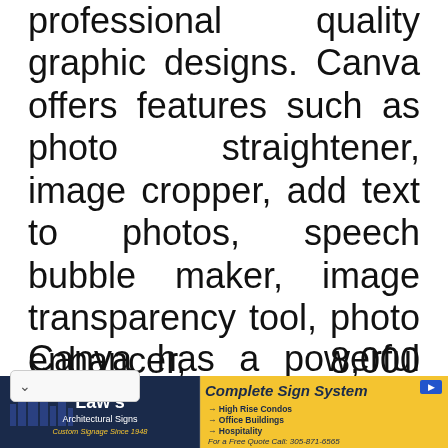professional quality graphic designs. Canva offers features such as photo straightener, image cropper, add text to photos, speech bubble maker, image transparency tool, photo enhancer, 8,000 templates, photo blur, photo vignette, design grids, free icons, photo frames, web wireframe, stickers, badges and add texture.
Canva has a powerful drag and drop
[Figure (screenshot): Advertisement banner for Law's Architectural Signs with text 'Complete Sign Systems', listing High Rise Condos, Office Buildings, Hospitality, and phone number 305-871-6565]